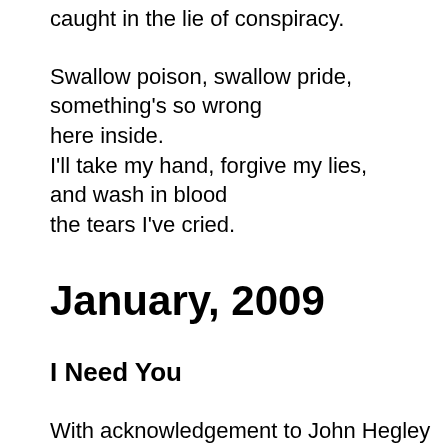caught in the lie of conspiracy.
Swallow poison, swallow pride,
something's so wrong
here inside.
I'll take my hand, forgive my lies,
and wash in blood
the tears I've cried.
January, 2009
I Need You
With acknowledgement to John Hegley